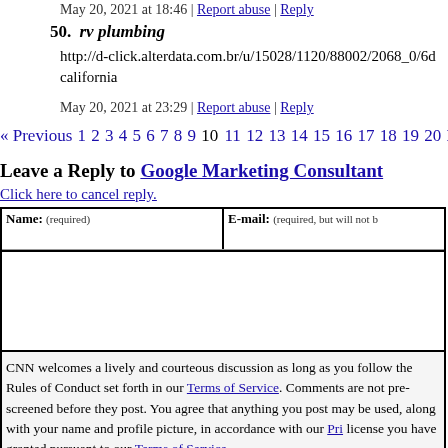May 20, 2021 at 18:46 | Report abuse | Reply
50. rv plumbing
http://d-click.alterdata.com.br/u/15028/1120/88002/2068_0/6d california
May 20, 2021 at 23:29 | Report abuse | Reply
« Previous 1 2 3 4 5 6 7 8 9 10 11 12 13 14 15 16 17 18 19 20 Next »
Leave a Reply to Google Marketing Consultant
Click here to cancel reply.
| Name: (required) | E-mail: (required, but will not be published) |
| --- | --- |
|  |  |
CNN welcomes a lively and courteous discussion as long as you follow the Rules of Conduct set forth in our Terms of Service. Comments are not pre-screened before they post. You agree that anything you post may be used, along with your name and profile picture, in accordance with our Privacy Policy and the license you have granted pursuant to our Terms of Service.